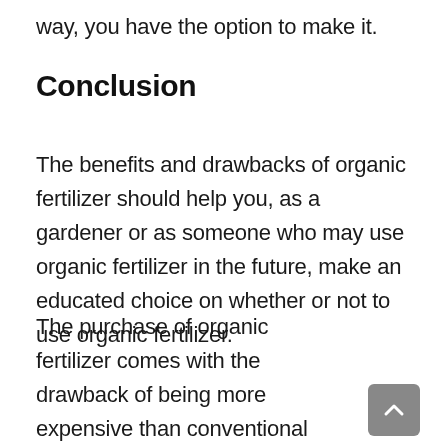way, you have the option to make it.
Conclusion
The benefits and drawbacks of organic fertilizer should help you, as a gardener or as someone who may use organic fertilizer in the future, make an educated choice on whether or not to use organic fertilizer.
The purchase of organic fertilizer comes with the drawback of being more expensive than conventional fertilizer and giving a lesser immediate benefit to the plants and soil in your